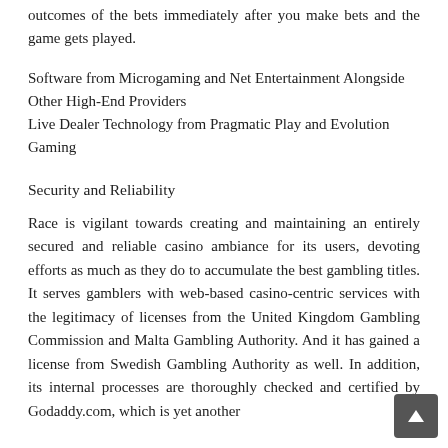outcomes of the bets immediately after you make bets and the game gets played.
Software from Microgaming and Net Entertainment Alongside Other High-End Providers
Live Dealer Technology from Pragmatic Play and Evolution Gaming
Security and Reliability
Race is vigilant towards creating and maintaining an entirely secured and reliable casino ambiance for its users, devoting efforts as much as they do to accumulate the best gambling titles. It serves gamblers with web-based casino-centric services with the legitimacy of licenses from the United Kingdom Gambling Commission and Malta Gambling Authority. And it has gained a license from Swedish Gambling Authority as well. In addition, its internal processes are thoroughly checked and certified by Godaddy.com, which is yet another